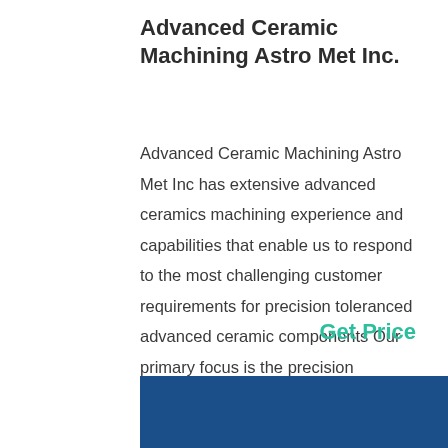Advanced Ceramic Machining Astro Met Inc.
Advanced Ceramic Machining Astro Met Inc has extensive advanced ceramics machining experience and capabilities that enable us to respond to the most challenging customer requirements for precision toleranced advanced ceramic components Our primary focus is the precision machining of advanced ceramic components per customer design from the advanced ceramic materials that we
Get Price
[Figure (photo): Blue background image, partially visible at bottom of page]